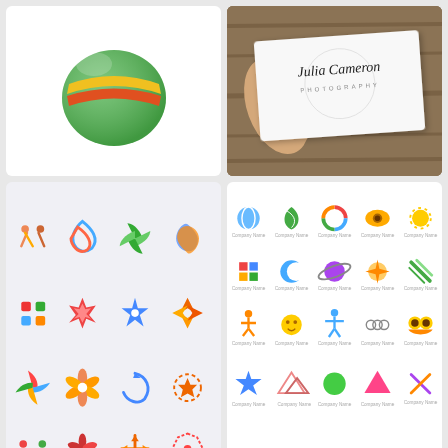[Figure (logo): Colorful globe/sphere logo with ribbon/stripe design in green, yellow, and red]
[Figure (photo): Hand holding a white business card reading 'Julia Cameron Photography' on wooden background]
[Figure (illustration): Grid of 12 colorful decorative icon/logo designs (stars, spirals, flowers) on light gray background]
[Figure (illustration): Grid of 20 company logo templates with placeholder 'Company Name' text in 4 rows of 5]
[Figure (illustration): Template design with 'NEWHEADING MORE HERE' text and watercolor splash background]
[Figure (logo): Circular badge logo 'GRAPHIC BURGER BISTRO' on blurred brown background]
[Figure (photo): Letterpress embossed badge showing 'LETTERPRESS YOUR LO[GO]' on dark metal texture]
[Figure (photo): Embossed circular stamp/seal logo on dark gray textured surface, partially visible]